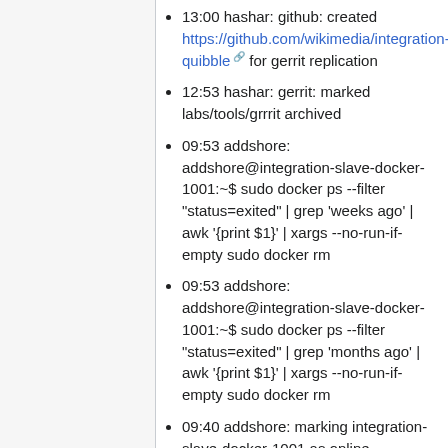13:00 hashar: github: created https://github.com/wikimedia/integration-quibble for gerrit replication
12:53 hashar: gerrit: marked labs/tools/grrrit archived
09:53 addshore: addshore@integration-slave-docker-1001:~$ sudo docker ps --filter "status=exited" | grep 'weeks ago' | awk '{print $1}' | xargs --no-run-if-empty sudo docker rm
09:53 addshore: addshore@integration-slave-docker-1001:~$ sudo docker ps --filter "status=exited" | grep 'months ago' | awk '{print $1}' | xargs --no-run-if-empty sudo docker rm
09:40 addshore: marking integration-slave-docker-1001 as online - T177039